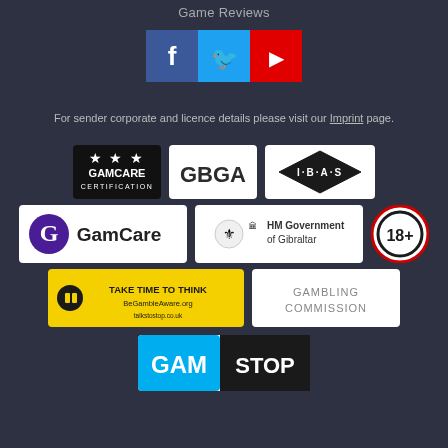Game Reviews
[Figure (logo): Social media icons: Facebook (blue), Twitter (light blue), YouTube (red)]
For sender corporate and licence details please visit our Imprint page.
[Figure (logo): Row of certification logos: GamCare Certification (black), GBGA (white), IBAS (white with diamond)]
[Figure (logo): Row of logos: GamCare (white with G icon), HM Government of Gibraltar (white), 18+ age restriction badge]
[Figure (logo): Row of logos: Take Time To Think (yellow), Gambling Commission (white)]
[Figure (logo): GamStop logo (white background)]